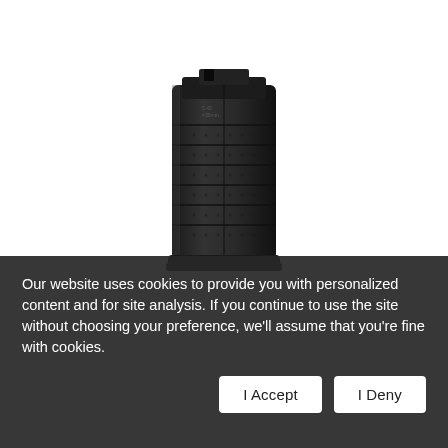[Figure (photo): A black polymer rifle magazine standing upright on a white background, slightly angled to the right. The magazine has ribbed texture and appears to be a standard capacity firearm magazine.]
Our website uses cookies to provide you with personalized content and for site analysis. If you continue to use the site without choosing your preference, we'll assume that you're fine with cookies.